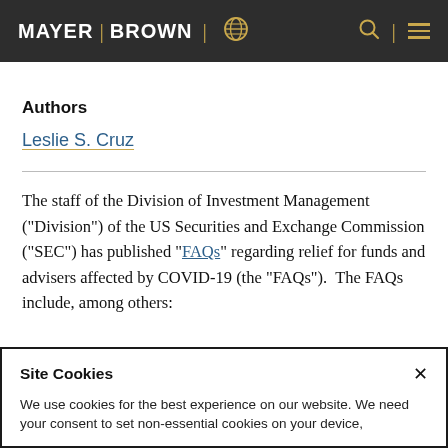MAYER | BROWN
Authors
Leslie S. Cruz
The staff of the Division of Investment Management (“Division”) of the US Securities and Exchange Commission (“SEC”) has published “FAQs” regarding relief for funds and advisers affected by COVID-19 (the “FAQs”).  The FAQs include, among others:
Site Cookies
We use cookies for the best experience on our website. We need your consent to set non-essential cookies on your device,